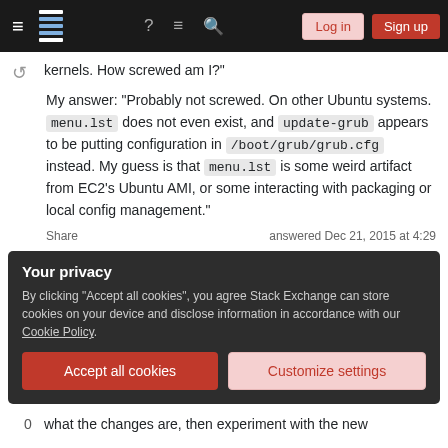Stack Exchange navigation bar with hamburger menu, logo, help, chat, search, Log in, Sign up
kernels. How screwed am I?"
My answer: "Probably not screwed. On other Ubuntu systems. menu.lst does not even exist, and update-grub appears to be putting configuration in /boot/grub/grub.cfg instead. My guess is that menu.lst is some weird artifact from EC2's Ubuntu AMI, or some interacting with packaging or local config management."
Share
answered Dec 21, 2015 at 4:29
Your privacy
By clicking "Accept all cookies", you agree Stack Exchange can store cookies on your device and disclose information in accordance with our Cookie Policy.
Accept all cookies
Customize settings
what the changes are, then experiment with the new